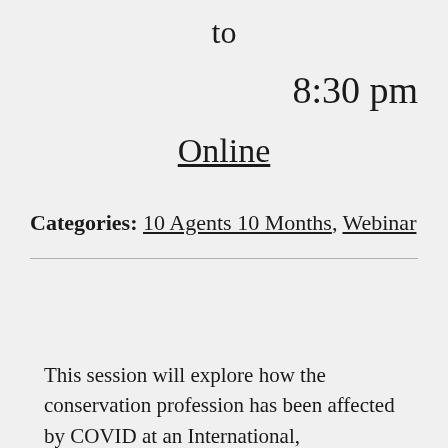to
8:30 pm
Online
Categories: 10 Agents 10 Months, Webinar
This session will explore how the conservation profession has been affected by COVID at an International,